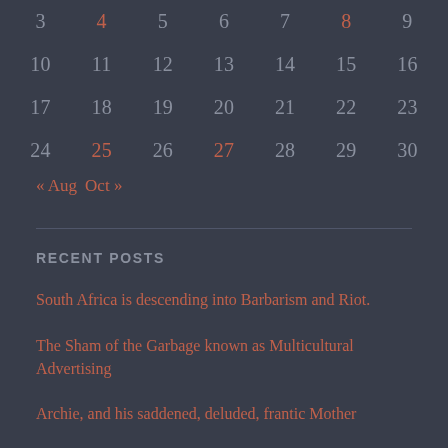| 3 | 4 | 5 | 6 | 7 | 8 | 9 |
| 10 | 11 | 12 | 13 | 14 | 15 | 16 |
| 17 | 18 | 19 | 20 | 21 | 22 | 23 |
| 24 | 25 | 26 | 27 | 28 | 29 | 30 |
« Aug   Oct »
RECENT POSTS
South Africa is descending into Barbarism and Riot.
The Sham of the Garbage known as Multicultural Advertising
Archie, and his saddened, deluded, frantic Mother